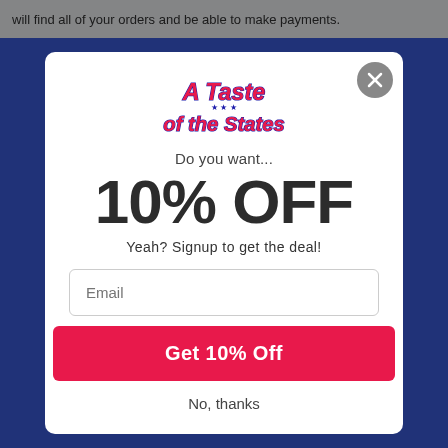will find all of your orders and be able to make payments.
[Figure (screenshot): A modal popup overlay on a website for 'A Taste of the States', showing a 10% off discount offer with email signup, a close button, an email input field, a red 'Get 10% Off' button, and a 'No, thanks' link.]